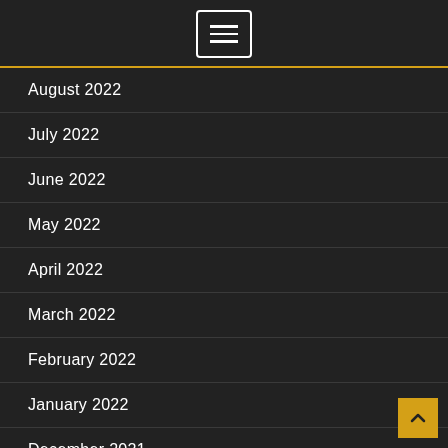Navigation menu (hamburger icon)
August 2022
July 2022
June 2022
May 2022
April 2022
March 2022
February 2022
January 2022
December 2021
November 2021
October 2021